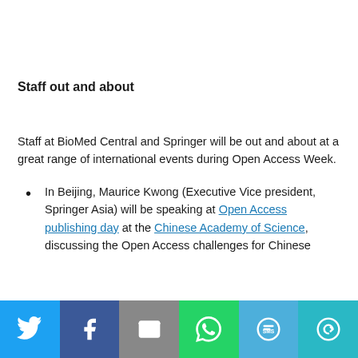Staff out and about
Staff at BioMed Central and Springer will be out and about at a great range of international events during Open Access Week.
In Beijing, Maurice Kwong (Executive Vice president, Springer Asia) will be speaking at Open Access publishing day at the Chinese Academy of Science, discussing the Open Access challenges for Chinese
[Figure (infographic): Social sharing bar with Twitter, Facebook, Email, WhatsApp, SMS, and More buttons]